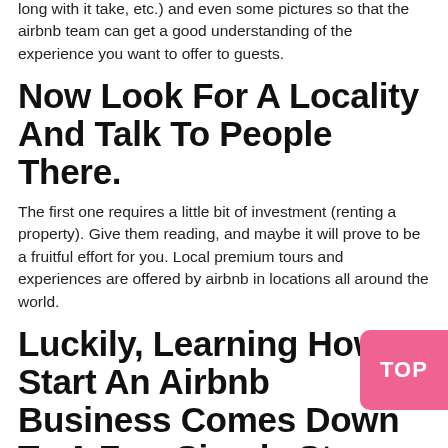long with it take, etc.) and even some pictures so that the airbnb team can get a good understanding of the experience you want to offer to guests.
Now Look For A Locality And Talk To People There.
The first one requires a little bit of investment (renting a property). Give them reading, and maybe it will prove to be a fruitful effort for you. Local premium tours and experiences are offered by airbnb in locations all around the world.
Luckily, Learning How To Start An Airbnb Business Comes Down To A Few Simple Ste...
The company reported a broad range of host earnings, with some bringing in more than $10,000 a...